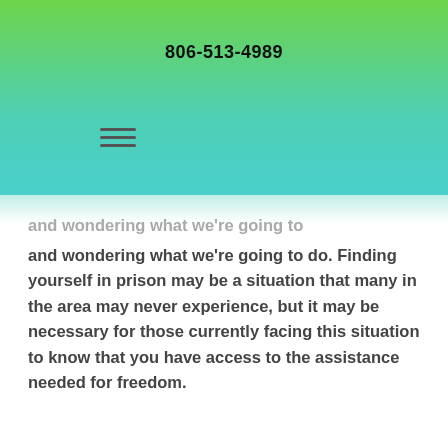806-513-4989
[Figure (other): Hamburger menu icon (three horizontal lines)]
and wondering what we're going to do. Finding yourself in prison may be a situation that many in the area may never experience, but it may be necessary for those currently facing this situation to know that you have access to the assistance needed for freedom.